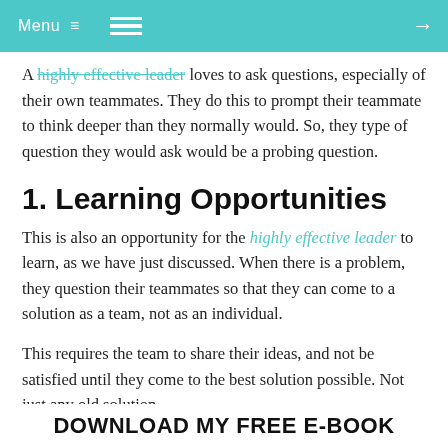Menu ≡ [hamburger icon] →
A highly effective leader loves to ask questions, especially of their own teammates. They do this to prompt their teammate to think deeper than they normally would. So, they type of question they would ask would be a probing question.
1. Learning Opportunities
This is also an opportunity for the highly effective leader to learn, as we have just discussed. When there is a problem, they question their teammates so that they can come to a solution as a team, not as an individual.
This requires the team to share their ideas, and not be satisfied until they come to the best solution possible. Not just any old solution.
DOWNLOAD MY FREE E-BOOK